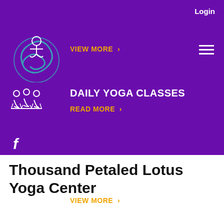Login
[Figure (logo): Circular yoga/lotus logo with teal swirl and meditating figure icon on purple background]
VIEW MORE >
[Figure (illustration): White outline icon of group yoga class with instructor]
DAILY YOGA CLASSES
READ MORE >
[Figure (illustration): Facebook icon]
[Figure (illustration): Instagram icon]
[Figure (illustration): WhatsApp icon]
[Figure (illustration): Yoga person icon]
[Figure (illustration): Phone icon]
WORKSHOPS & SEMINARS
VIEW MORE >
Thousand Petaled Lotus Yoga Center